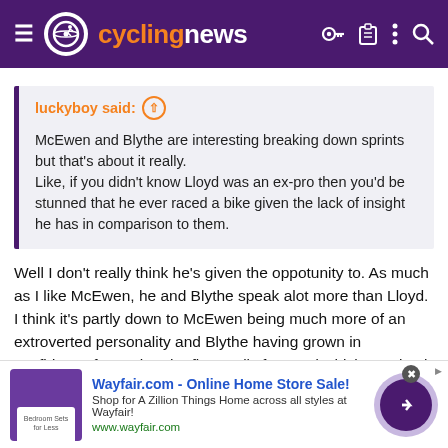cyclingnews
luckyboy said:
McEwen and Blythe are interesting breaking down sprints but that's about it really.
Like, if you didn't know Lloyd was an ex-pro then you'd be stunned that he ever raced a bike given the lack of insight he has in comparison to them.
Well I don't really think he's given the oppotunity to. As much as I like McEwen, he and Blythe speak alot more than Lloyd. I think it's partly down to McEwen being much more of an extroverted personality and Blythe having grown in confidence from when he first really featured which was back in the 2018 grand tours for short stints. This is compared to Lloyd who although good at presenting, and
[Figure (screenshot): Wayfair.com advertisement banner: Online Home Store Sale! Shop for A Zillion Things Home across all styles at Wayfair! www.wayfair.com]